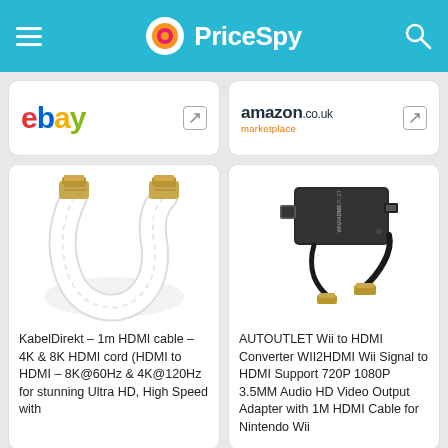PriceSpy
[Figure (logo): eBay store card with eBay logo and external link icon]
[Figure (logo): Amazon.co.uk marketplace store card with logo and external link icon]
[Figure (photo): White HDMI cable with gold-plated connectors - KabelDirekt 1m HDMI cable]
KabelDirekt – 1m HDMI cable – 4K & 8K HDMI cord (HDMI to HDMI – 8K@60Hz & 4K@120Hz for stunning Ultra HD, High Speed with
[Figure (photo): AUTOUTLET Wii to HDMI Converter WII2HDMI black adapter with HDMI cable]
AUTOUTLET Wii to HDMI Converter WII2HDMI Wii Signal to HDMI Support 720P 1080P 3.5MM Audio HD Video Output Adapter with 1M HDMI Cable for Nintendo Wii